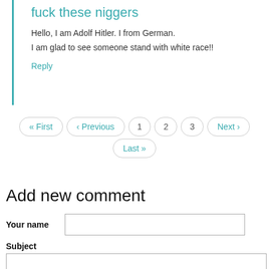fuck these niggers
Hello, I am Adolf Hitler. I from German.
I am glad to see someone stand with white race!!
Reply
« First ‹ Previous 1 2 3 Next › Last »
Add new comment
Your name
Subject